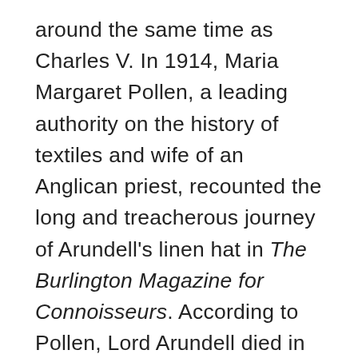around the same time as Charles V. In 1914, Maria Margaret Pollen, a leading authority on the history of textiles and wife of an Anglican priest, recounted the long and treacherous journey of Arundell's linen hat in The Burlington Magazine for Connoisseurs. According to Pollen, Lord Arundell died in Oxford in 1643 from wounds he received at the battle of Landowne. Meanwhile, his wife Blanche was defending Wardour Castle with a lean army of just twenty-five soldiers. After nine menacing days of battle, the fighting was about to consummate with a peaceful surrender to parliamentary commanders Ludlow and Hungerford, but rebel troops